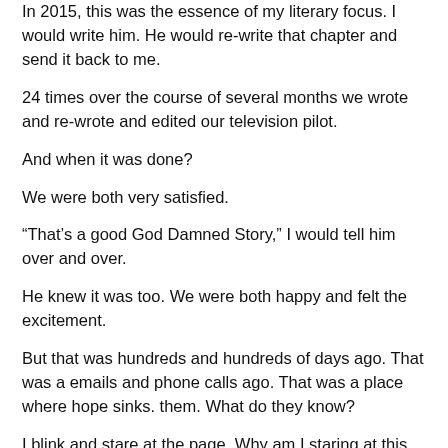In 2015, this was the essence of my literary focus. I would write him. He would re-write that chapter and send it back to me.
24 times over the course of several months we wrote and re-wrote and edited our television pilot.
And when it was done?
We were both very satisfied.
“That’s a good God Damned Story,” I would tell him over and over.
He knew it was too. We were both happy and felt the excitement.
But that was hundreds and hundreds of days ago. That was a emails and phone calls ago. That was a place where hope sinks. them. What do they know?
I blink and stare at the page. Why am I staring at this new version? What is the Catalyst for this weekend burst of creative thought?
That’s a question only my cousin can answer. But for me, Cameron on June 9th 2017, the day that Batman legend Adam West died.